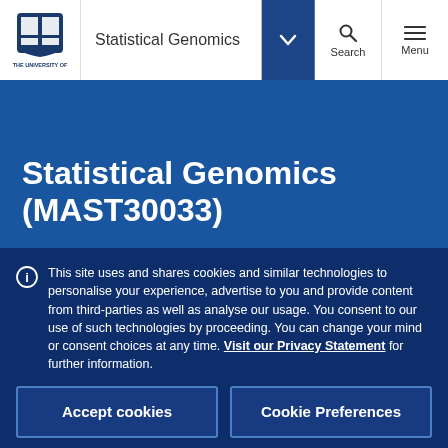Statistical Genomics
Statistical Genomics (MAST30033)
This site uses and shares cookies and similar technologies to personalise your experience, advertise to you and provide content from third-parties as well as analyse our usage. You consent to our use of such technologies by proceeding. You can change your mind or consent choices at any time. Visit our Privacy Statement for further information.
Accept cookies
Cookie Preferences